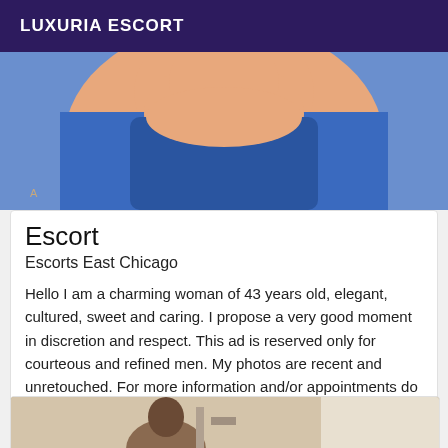LUXURIA ESCORT
[Figure (photo): Close-up photo of a person wearing a blue top]
Escort
Escorts East Chicago
Hello I am a charming woman of 43 years old, elegant, cultured, sweet and caring. I propose a very good moment in discretion and respect. This ad is reserved only for courteous and refined men. My photos are recent and unretouched. For more information and/or appointments do not hesitate to contact me via my email.
[Figure (photo): Photo of a person in a room, partially visible at bottom of page]